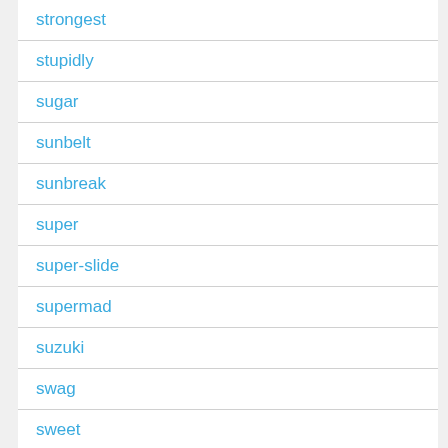strongest
stupidly
sugar
sunbelt
sunbreak
super
super-slide
supermad
suzuki
swag
sweet
sweetheart
swisher